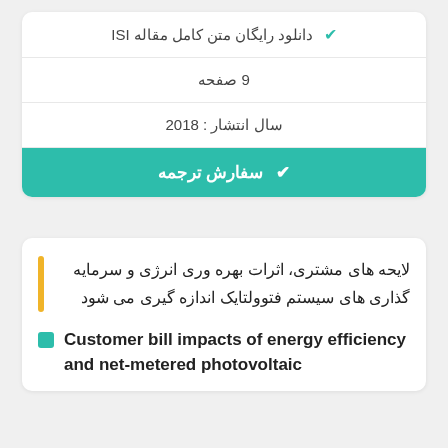✔ دانلود رایگان متن کامل مقاله ISI
9 صفحه
سال انتشار : 2018
✔ سفارش ترجمه
لایحه های مشتری، اثرات بهره وری انرژی و سرمایه گذاری های سیستم فتوولتایک اندازه گیری می شود
Customer bill impacts of energy efficiency and net-metered photovoltaic